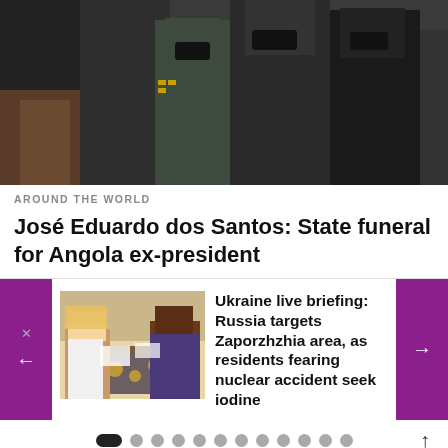[Figure (photo): Group of people in formal/dark attire at an official event, some wearing face masks, including a military officer in uniform]
AROUND THE WORLD
José Eduardo dos Santos: State funeral for Angola ex-president
[Figure (photo): A woman with blonde hair sits across from a healthcare worker at a table, receiving some form of medical or administrative service]
Ukraine live briefing: Russia targets Zaporzhzhia area, as residents fearing nuclear accident seek iodine